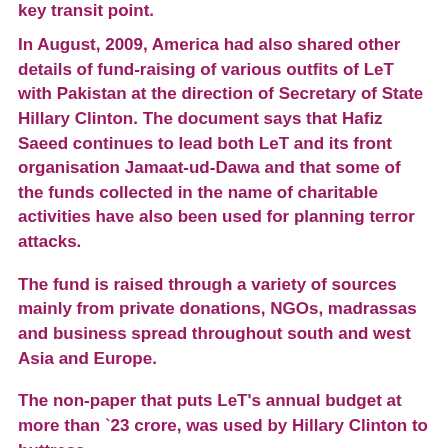key transit point.
In August, 2009, America had also shared other details of fund-raising of various outfits of LeT with Pakistan at the direction of Secretary of State Hillary Clinton. The document says that Hafiz Saeed continues to lead both LeT and its front organisation Jamaat-ud-Dawa and that some of the funds collected in the name of charitable activities have also been used for planning terror attacks.
The fund is raised through a variety of sources mainly from private donations, NGOs, madrassas and business spread throughout south and west Asia and Europe.
The non-paper that puts LeT's annual budget at more than `23 crore, was used by Hillary Clinton to buttress